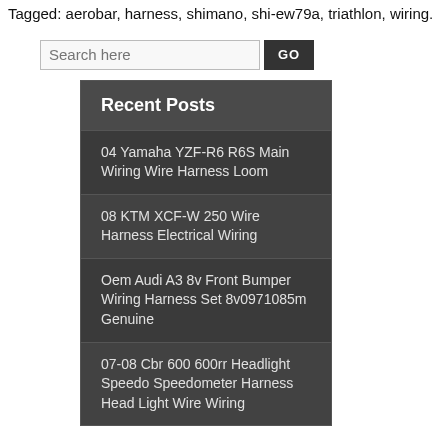Tagged: aerobar, harness, shimano, shi-ew79a, triathlon, wiring.
Search here GO
Recent Posts
04 Yamaha YZF-R6 R6S Main Wiring Wire Harness Loom
08 KTM XCF-W 250 Wire Harness Electrical Wiring
Oem Audi A3 8v Front Bumper Wiring Harness Set 8v0971085m Genuine
07-08 Cbr 600 600rr Headlight Speedo Speedometer Harness Head Light Wire Wiring